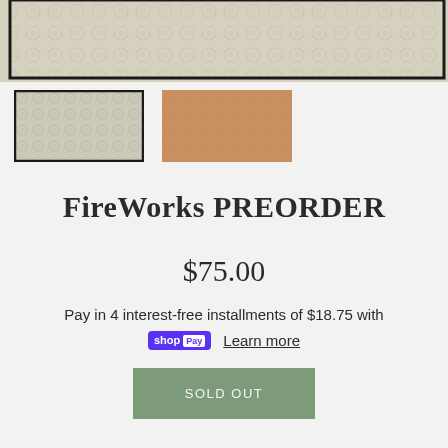[Figure (photo): Close-up product image showing embossed patterned material in grey/beige tone with circular motif patterns, dark border frame visible]
[Figure (photo): Two product thumbnail images: left showing grey/silver patterned swatch, right showing copper/rose gold patterned swatch]
FireWorks PREORDER
$75.00
Pay in 4 interest-free installments of $18.75 with
shop Pay  Learn more
SOLD OUT